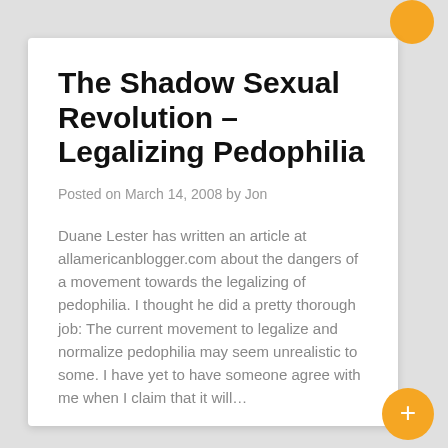The Shadow Sexual Revolution – Legalizing Pedophilia
Posted on March 14, 2008 by Jon
Duane Lester has written an article at allamericanblogger.com about the dangers of a movement towards the legalizing of pedophilia. I thought he did a pretty thorough job: The current movement to legalize and normalize pedophilia may seem unrealistic to some. I have yet to have someone agree with me when I claim that it will…